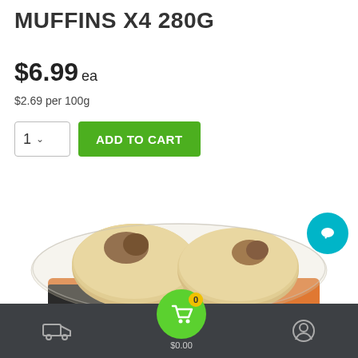MUFFINS X4 280G
$6.99 ea
$2.69 per 100g
[Figure (screenshot): Add to cart UI with quantity selector showing '1' and a green 'ADD TO CART' button]
[Figure (photo): Package of 4 English muffins in clear plastic packaging with orange label]
$0.00 cart with 0 items, delivery icon, user account icon